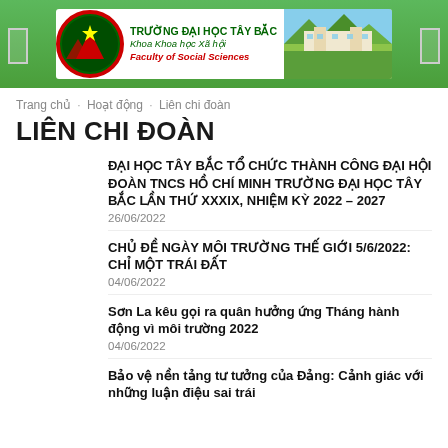[Figure (logo): Truong Dai hoc Tay Bac - Khoa Khoa hoc Xa hoi / Faculty of Social Sciences banner with logo and campus photo]
Trang chủ / Hoạt động / Liên chi đoàn
LIÊN CHI ĐOÀN
ĐẠI HỌC TÂY BẮC TỔ CHỨC THÀNH CÔNG ĐẠI HỘI ĐOÀN TNCS HỒ CHÍ MINH TRƯỜNG ĐẠI HỌC TÂY BẮC LẦN THỨ XXXIX, NHIỆM KỲ 2022 – 2027
26/06/2022
CHỦ ĐỀ NGÀY MÔI TRƯỜNG THẾ GIỚI 5/6/2022: CHỈ MỘT TRÁI ĐẤT
04/06/2022
Sơn La kêu gọi ra quân hưởng ứng Tháng hành động vì môi trường 2022
04/06/2022
Bảo vệ nền tảng tư tưởng của Đảng: Cảnh giác với những luận điệu sai trái